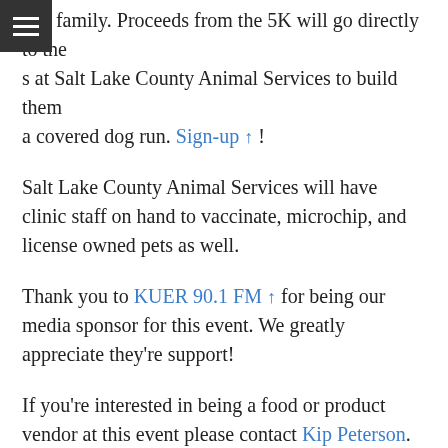and family. Proceeds from the 5K will go directly to the s at Salt Lake County Animal Services to build them a covered dog run. Sign-up ↑ !
Salt Lake County Animal Services will have clinic staff on hand to vaccinate, microchip, and license owned pets as well.
Thank you to KUER 90.1 FM ↑ for being our media sponsor for this event. We greatly appreciate they're support!
If you're interested in being a food or product vendor at this event please contact Kip Peterson. The Viridian Event Center ↑ is located in West Jordan at 8030 S 1825 W.
in honoring of the month